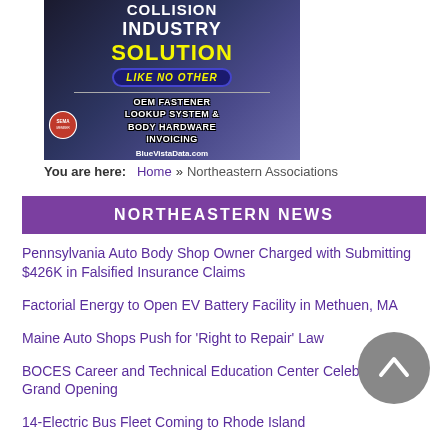[Figure (illustration): Advertisement for BlueVistaData.com showing a car headlight background with text: COLLISION INDUSTRY SOLUTION LIKE NO OTHER, OEM FASTENER LOOKUP SYSTEM & BODY HARDWARE INVOICING, BlueVistaData.com, with SEMA logo]
You are here:   Home  »  Northeastern Associations
NORTHEASTERN NEWS
Pennsylvania Auto Body Shop Owner Charged with Submitting $426K in Falsified Insurance Claims
Factorial Energy to Open EV Battery Facility in Methuen, MA
Maine Auto Shops Push for 'Right to Repair' Law
BOCES Career and Technical Education Center Celebrates Grand Opening
14-Electric Bus Fleet Coming to Rhode Island